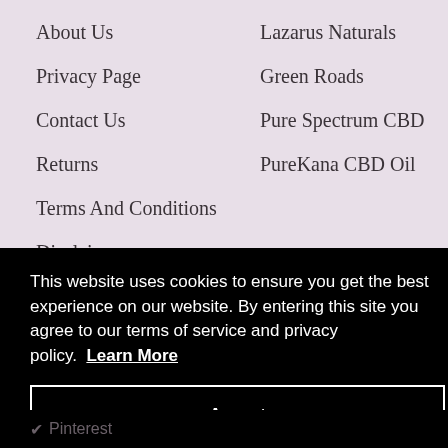About Us
Lazarus Naturals
Privacy Page
Green Roads
Contact Us
Pure Spectrum CBD
Returns
PureKana CBD Oil
Terms And Conditions
Disclaimer
This website uses cookies to ensure you get the best experience on our website. By entering this site you agree to our terms of service and privacy policy. Learn More
Accept
Pinterest